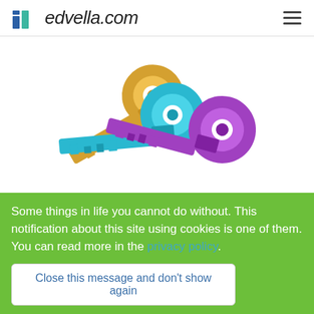edvella.com
[Figure (photo): Three keys in gold, teal/blue, and purple colors arranged overlapping on a white background]
Now we also want to have a safer process when
Some things in life you cannot do without. This notification about this site using cookies is one of them. You can read more in the privacy policy.
Close this message and don't show again